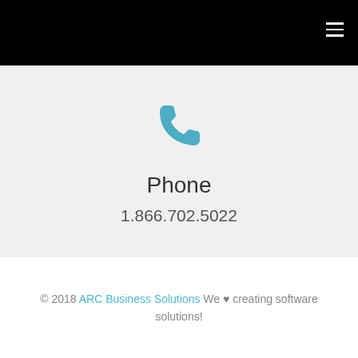[Figure (illustration): Teal phone/telephone handset icon centered on light gray background]
Phone
1.866.702.5022
© 2018 ARC Business Solutions We ♥ creating software solutions!